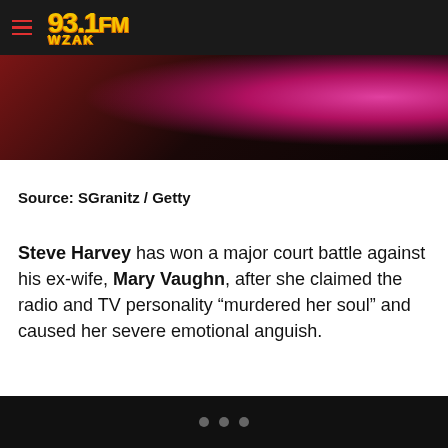93.1 FM WZAK
[Figure (photo): Dark background photo with person in floral clothing, partially visible, red and dark tones]
Source: SGranitz / Getty
Steve Harvey has won a major court battle against his ex-wife, Mary Vaughn, after she claimed the radio and TV personality “murdered her soul” and caused her severe emotional anguish.